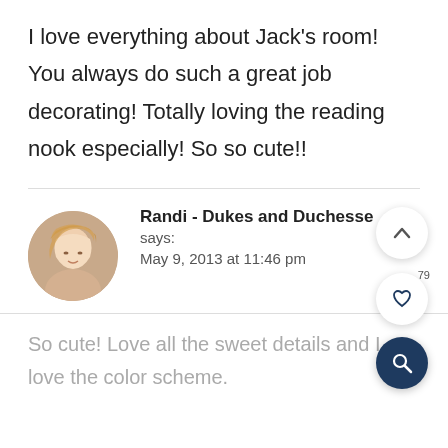I love everything about Jack's room! You always do such a great job decorating! Totally loving the reading nook especially! So so cute!!
[Figure (photo): Circular avatar photo of a blonde woman, used as a comment author profile picture]
Randi - Dukes and Duchesse says: May 9, 2013 at 11:46 pm
So cute! Love all the sweet details and I love the color scheme.